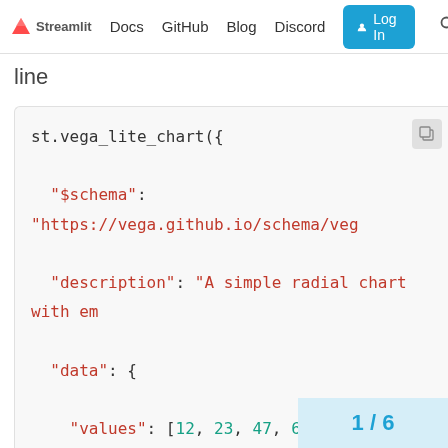Streamlit Docs  GitHub  Blog  Discord  Log In
line
st.vega_lite_chart({
  "$schema": "https://vega.github.io/schema/veg
  "description": "A simple radial chart with em
  "data": {
    "values": [12, 23, 47, 6, 52, 19]
  },
  "layer": [{
    "mark": {"type": "arc", "in
1 / 6